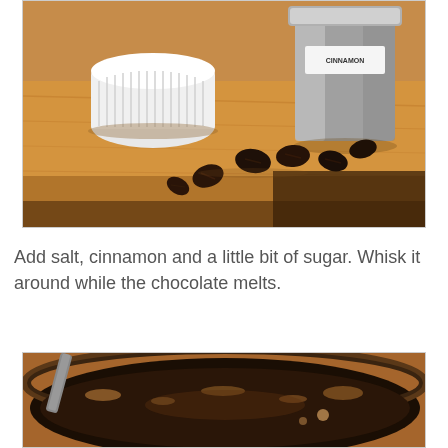[Figure (photo): Kitchen scene with coffee beans scattered on a wooden board, a white ramekin dish and a silver metal cinnamon canister labeled 'CINNAMON' in the background, warm amber lighting]
Add salt, cinnamon and a little bit of sugar. Whisk it around while the chocolate melts.
[Figure (photo): Close-up of a dark saucepan on a stove with chocolate melting, a whisk visible, warm amber lighting, bubbles forming around the edges]